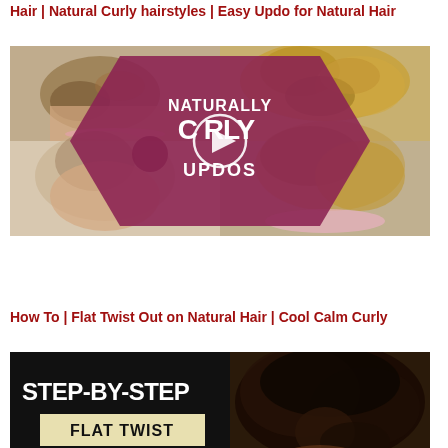Hair | Natural Curly hairstyles | Easy Updo for Natural Hair
[Figure (photo): Collage of natural curly hair updo styles with a dark pink hexagon overlay reading 'NATURALLY CURLY UPDOS' and a video play button in the center]
How To | Flat Twist Out on Natural Hair | Cool Calm Curly
[Figure (photo): Thumbnail image with 'STEP-BY-STEP FLAT TWIST' text overlay and natural curly hair photos]